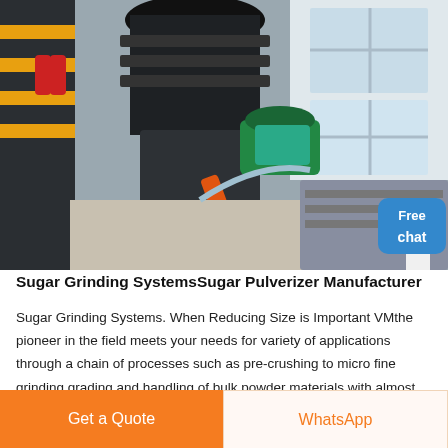[Figure (photo): Overhead industrial photo of a large sugar grinding / pulverizer machine in a factory setting. The machine has a large dark cylindrical top section, green motor unit, and various mechanical components. Yellow safety railings are visible on the left, large windows on the upper right, and the factory floor is visible below.]
Sugar Grinding SystemsSugar Pulverizer Manufacturer
Sugar Grinding Systems. When Reducing Size is Important VMthe pioneer in the field meets your needs for variety of applications through a chain of processes such as pre-crushing to micro fine grinding grading and handling of bulk powder materials with almost dust free operation.